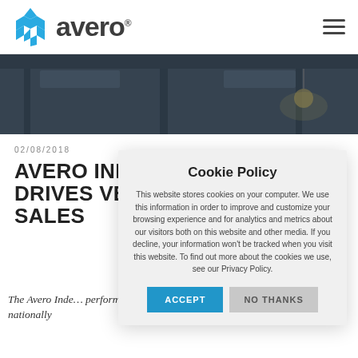[Figure (logo): Avero logo with blue diamond pattern icon and grey 'avero' wordmark with registered trademark symbol]
[Figure (photo): Hero banner showing a restaurant interior with industrial ceiling, dark moody lighting, tables and hanging lamps]
02/08/2018
AVERO IND… DRIVES VE… SALES
The Avero Inde… performance… cuisines, venue types, and average checks, nationally
Cookie Policy
This website stores cookies on your computer. We use this information in order to improve and customize your browsing experience and for analytics and metrics about our visitors both on this website and other media. If you decline, your information won't be tracked when you visit this website. To find out more about the cookies we use, see our Privacy Policy.
ACCEPT
NO THANKS